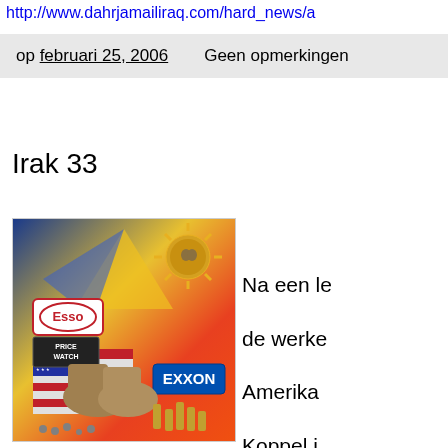http://www.dahrjamailiraq.com/hard_news/a
op februari 25, 2006    Geen opmerkingen
Irak 33
[Figure (illustration): Collage illustration featuring military boots, bullet casings, an American flag, Esso and Exxon oil company logos, a Price Watch sign, and a sun with a face against a colorful background]
Na een le de werke Amerika Koppel i strong O